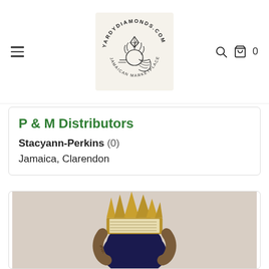[Figure (logo): YardyDiamonds.com Jamaican Marketplace logo — lion head with diamond, circular text]
P & M Distributors
Stacyann-Perkins (0)
Jamaica, Clarendon
[Figure (illustration): Digital illustration of a person holding a gold crown with book pages, viewed from behind, with dark blue hair and tattoos on arms]